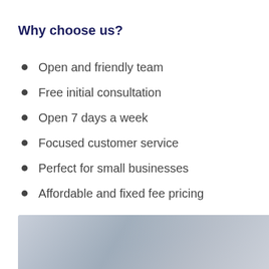Why choose us?
Open and friendly team
Free initial consultation
Open 7 days a week
Focused customer service
Perfect for small businesses
Affordable and fixed fee pricing
[Figure (photo): Two people shaking hands or working together at a desk, blurred/cropped at bottom of page]